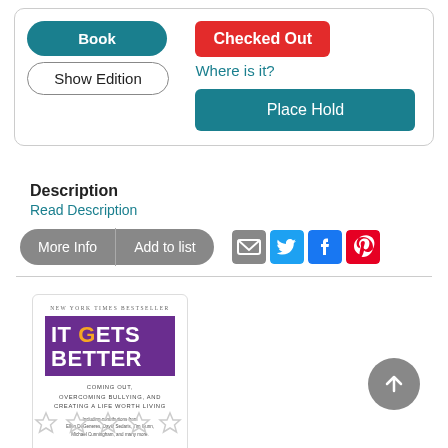[Figure (screenshot): Library catalog interface showing a book record with 'Book' button (teal), 'Show Edition' button, 'Checked Out' badge (red), 'Where is it?' link, and 'Place Hold' button (teal)]
Description
Read Description
[Figure (other): Action buttons: 'More Info' and 'Add to list' pill buttons (gray), and social sharing icons for email, Twitter, Facebook, Pinterest]
[Figure (photo): Book cover of 'It Gets Better: Coming Out, Overcoming Bullying, and Creating a Life Worth Living' edited by Dan Savage and Terry Miller, New York Times Bestseller, Penguin Books]
[Figure (other): Five empty star rating icons]